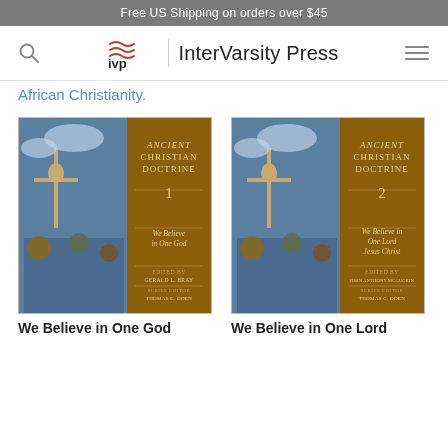Free US Shipping on orders over $45
[Figure (logo): InterVarsity Press logo and navigation bar with search icon and menu icon]
African Christianity.
[Figure (photo): Book cover: Ancient Christian Doctrine 1 - We Believe in One God, edited by Gerald L. Bray, series editor Thomas C. Oden]
[Figure (photo): Book cover: Ancient Christian Doctrine 2 - We Believe in One Lord Jesus Christ, edited by John Anthony McGuckin, series editor Thomas C. Oden]
We Believe in One God
We Believe in One Lord